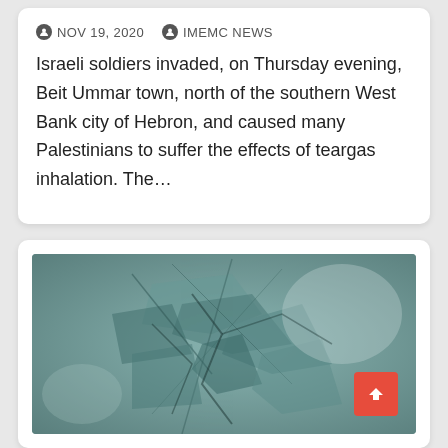Abuses One, in Hebron
NOV 19, 2020   IMEMC NEWS
Israeli soldiers invaded, on Thursday evening, Beit Ummar town, north of the southern West Bank city of Hebron, and caused many Palestinians to suffer the effects of teargas inhalation. The…
[Figure (photo): A grayscale/teal-tinted photograph showing a damaged or smashed windshield or window surface with cracks and debris, with a red scroll-to-top button in the bottom right corner.]